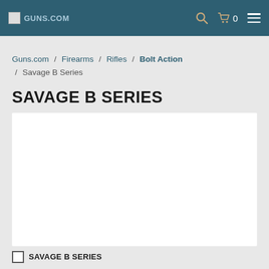Guns.com navigation bar with search, cart (0), and menu icons
Guns.com / Firearms / Rifles / Bolt Action / Savage B Series
SAVAGE B SERIES
[Figure (other): White product image area for Savage B Series]
SAVAGE B SERIES